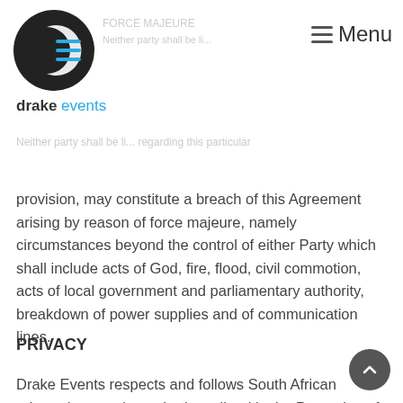[Figure (logo): Drake Events logo: dark circle with white crescent and blue horizontal lines]
≡ Menu
drake events
provision, may constitute a breach of this Agreement arising by reason of force majeure, namely circumstances beyond the control of either Party which shall include acts of God, fire, flood, civil commotion, acts of local government and parliamentary authority, breakdown of power supplies and of communication lines.
PRIVACY
Drake Events respects and follows South African privacy laws and standards outlined in the Protection of Personal Information Act. When you send us information about yourself you agree that we can use it for our company's purposes, however this information will never be shared with third parties. When you provide us with your name and e-mail address we deem this as giving Drake Events and the immediate partners and sponsors